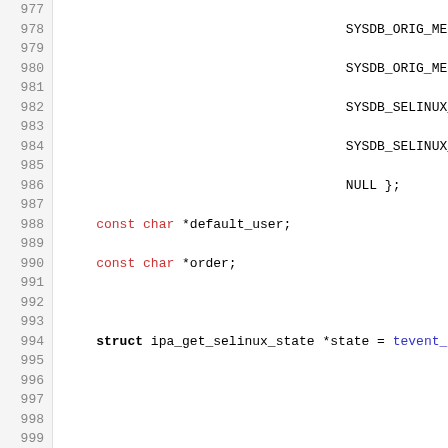[Figure (screenshot): Source code snippet showing C code with line numbers 977-999. Code includes variable declarations, struct initialization with tevent, sysdb_search_selinux_config call, error handling with DEBUG and return statements, and ldb_msg_find_attr_as_string call.]